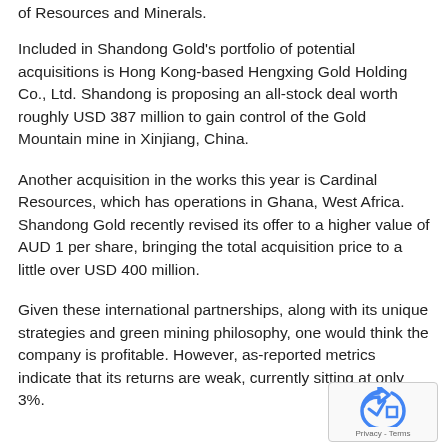of Resources and Minerals.
Included in Shandong Gold's portfolio of potential acquisitions is Hong Kong-based Hengxing Gold Holding Co., Ltd. Shandong is proposing an all-stock deal worth roughly USD 387 million to gain control of the Gold Mountain mine in Xinjiang, China.
Another acquisition in the works this year is Cardinal Resources, which has operations in Ghana, West Africa. Shandong Gold recently revised its offer to a higher value of AUD 1 per share, bringing the total acquisition price to a little over USD 400 million.
Given these international partnerships, along with its unique strategies and green mining philosophy, one would think the company is profitable. However, as-reported metrics indicate that its returns are weak, currently sitting at only 3%.